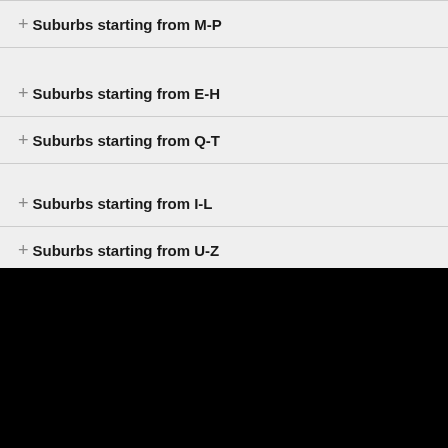+ Suburbs starting from M-P
+ Suburbs starting from E-H
+ Suburbs starting from Q-T
+ Suburbs starting from I-L
+ Suburbs starting from U-Z